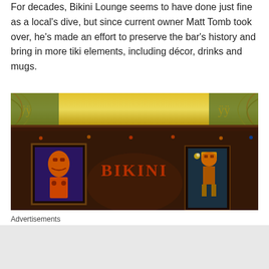For decades, Bikini Lounge seems to have done just fine as a local's dive, but since current owner Matt Tomb took over, he's made an effort to preserve the bar's history and bring in more tiki elements, including décor, drinks and mugs.
[Figure (photo): Interior of Bikini Lounge tiki bar showing decorative wall with tiki masks, warm orange/amber lighting, golden patterned ceiling panels, tiki artwork paintings, and 'BIKINI' text sign in warm red/orange neon-style lettering. Dark brown and earthy tones throughout with tropical decor elements.]
Advertisements